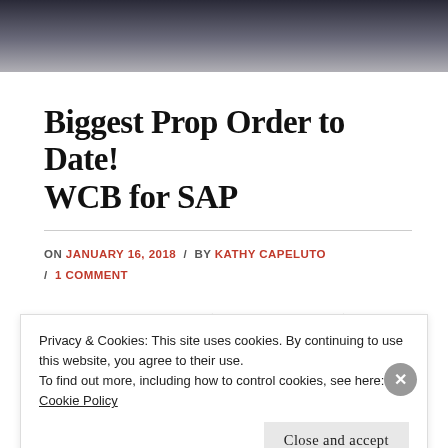[Figure (photo): Partial photo strip at top showing people, dark/muted tones]
Biggest Prop Order to Date! WCB for SAP
ON JANUARY 16, 2018 / BY KATHY CAPELUTO / 1 COMMENT
The reason I started WCB (the blog & Etsy shop) was...
Privacy & Cookies: This site uses cookies. By continuing to use this website, you agree to their use.
To find out more, including how to control cookies, see here: Cookie Policy
Close and accept